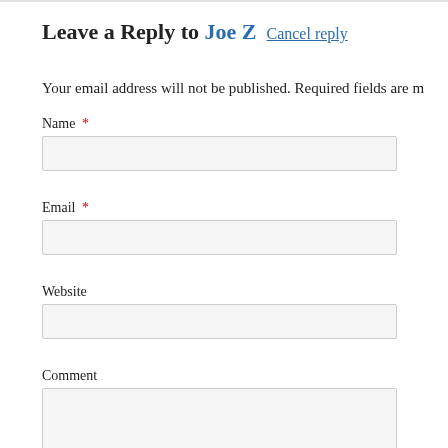Leave a Reply to Joe Z Cancel reply
Your email address will not be published. Required fields are m
Name *
Email *
Website
Comment